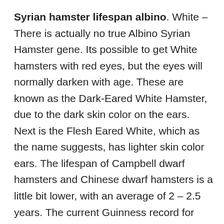Syrian hamster lifespan albino. White – There is actually no true Albino Syrian Hamster gene. Its possible to get White hamsters with red eyes, but the eyes will normally darken with age. These are known as the Dark-Eared White Hamster, due to the dark skin color on the ears. Next is the Flesh Eared White, which as the name suggests, has lighter skin color ears. The lifespan of Campbell dwarf hamsters and Chinese dwarf hamsters is a little bit lower, with an average of 2 – 2.5 years. The current Guinness record for world's oldest hamster stands at 4.5 years and is held by a UK-owned hamster of unknown species (though it's probably safe to assume it was a dwarf hamster, rather than a Syrian). Wild. However, the lifespan varies depending on the type of hamster and ranges from 1.5 to 3.5 years. From longest